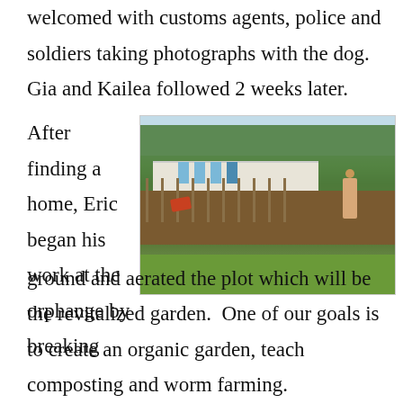welcomed with customs agents, police and soldiers taking photographs with the dog. Gia and Kailea followed 2 weeks later.
After finding a home, Eric began his work at the orphange by breaking ground and aerated the plot which will be the revitalized garden.  One of our goals is to create an organic garden, teach composting and worm farming.
[Figure (photo): Outdoor photo showing a tilled garden plot with wooden fence posts, a red wheelbarrow, a shirtless person walking, green trees in the background, a white and blue-striped wall, and grass in the foreground.]